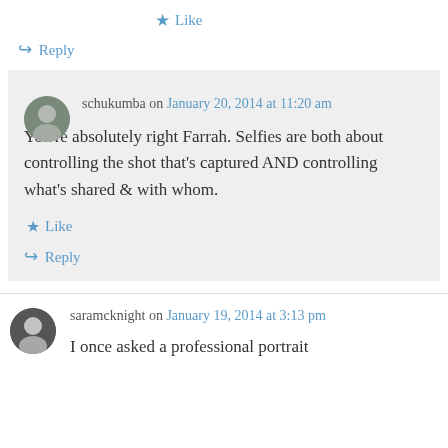★ Like
↪ Reply
schukumba on January 20, 2014 at 11:20 am
You're absolutely right Farrah. Selfies are both about controlling the shot that's captured AND controlling what's shared & with whom.
★ Like
↪ Reply
saramcknight on January 19, 2014 at 3:13 pm
I once asked a professional portrait